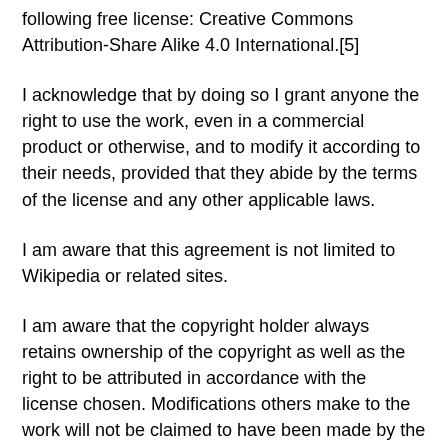following free license: Creative Commons Attribution-ShareAlike 4.0 International.[5]
I acknowledge that by doing so I grant anyone the right to use the work, even in a commercial product or otherwise, and to modify it according to their needs, provided that they abide by the terms of the license and any other applicable laws.
I am aware that this agreement is not limited to Wikipedia or related sites.
I am aware that the copyright holder always retains ownership of the copyright as well as the right to be attributed in accordance with the license chosen. Modifications others make to the work will not be claimed to have been made by the copyright holder.
I acknowledge that I cannot withdraw this agreement, and that the content may or may not be kept permanently on a Wikimedia project.